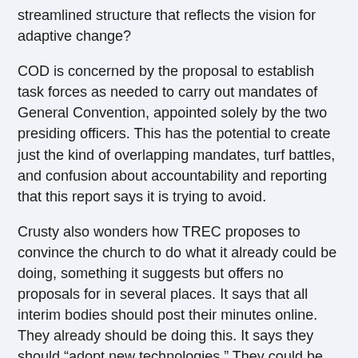streamlined structure that reflects the vision for adaptive change?
COD is concerned by the proposal to establish task forces as needed to carry out mandates of General Convention, appointed solely by the two presiding officers.  This has the potential to create just the kind of overlapping mandates, turf battles, and confusion about accountability and reporting that this report says it is trying to avoid.
Crusty also wonders how TREC proposes to convince the church to do what it already could be doing, something it suggests but offers no proposals for in several places.  It says that all interim bodies should post their minutes online.  They already should be doing this.  It says they should "adopt new technologies."  They could be doing this already.  How TREC, how?
In general, Crusty thinks the TREC paper on governance is thought provoking and moves in the right direction, and a marked improvement over the first.  COD still wonders how or whether TREC will be able to move the conversation